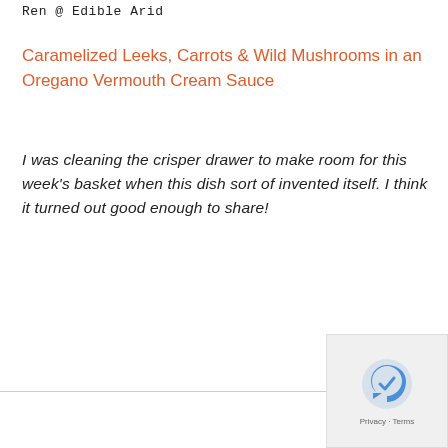Ren @ Edible Arid
Caramelized Leeks, Carrots & Wild Mushrooms in an Oregano Vermouth Cream Sauce
I was cleaning the crisper drawer to make room for this week's basket when this dish sort of invented itself. I think it turned out good enough to share!
[Figure (logo): reCAPTCHA logo and Privacy + Terms text in bottom right corner]